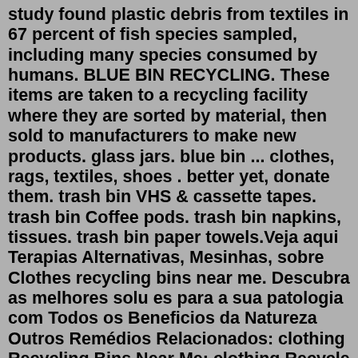study found plastic debris from textiles in 67 percent of fish species sampled, including many species consumed by humans. BLUE BIN RECYCLING. These items are taken to a recycling facility where they are sorted by material, then sold to manufacturers to make new products. glass jars. blue bin ... clothes, rags, textiles, shoes . better yet, donate them. trash bin VHS & cassette tapes. trash bin Coffee pods. trash bin napkins, tissues. trash bin paper towels.Veja aqui Terapias Alternativas, Mesinhas, sobre Clothes recycling bins near me. Descubra as melhores solu es para a sua patologia com Todos os Beneficios da Natureza Outros Remédios Relacionados: clothing Recycling Bins Near Me; clothing Recycle Bins Near Me; clothes Donation Bins Near Me; textile Recycling Bins Near MeProper waste disposal is crucial for homes, communities, and the environment. Shop for wholesale clothing recycling bins for sale and find a wide variety of Waste Bins for better waste management.703-444-5196. Habitat for Humanity ReStore. Foster...